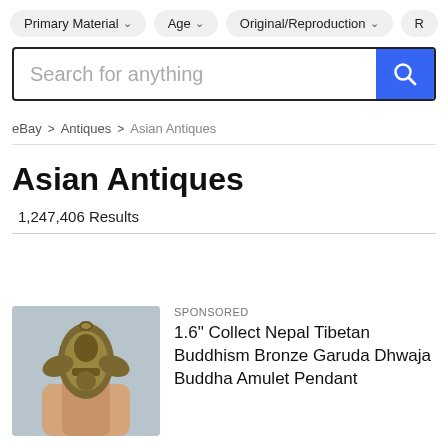Primary Material  Age  Original/Reproduction  R...
Search for anything
eBay > Antiques > Asian Antiques
Asian Antiques
1,247,406 Results
SPONSORED
1.6" Collect Nepal Tibetan Buddhism Bronze Garuda Dhwaja Buddha Amulet Pendant